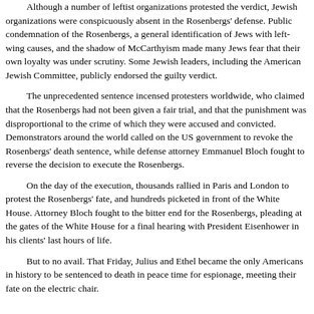Although a number of leftist organizations protested the verdict, Jewish organizations were conspicuously absent in the Rosenbergs' defense. Public condemnation of the Rosenbergs, a general identification of Jews with left-wing causes, and the shadow of McCarthyism made many Jews fear that their own loyalty was under scrutiny. Some Jewish leaders, including the American Jewish Committee, publicly endorsed the guilty verdict.
The unprecedented sentence incensed protesters worldwide, who claimed that the Rosenbergs had not been given a fair trial, and that the punishment was disproportional to the crime of which they were accused and convicted. Demonstrators around the world called on the US government to revoke the Rosenbergs' death sentence, while defense attorney Emmanuel Bloch fought to reverse the decision to execute the Rosenbergs.
On the day of the execution, thousands rallied in Paris and London to protest the Rosenbergs' fate, and hundreds picketed in front of the White House. Attorney Bloch fought to the bitter end for the Rosenbergs, pleading at the gates of the White House for a final hearing with President Eisenhower in his clients' last hours of life.
But to no avail. That Friday, Julius and Ethel became the only Americans in history to be sentenced to death in peace time for espionage, meeting their fate on the electric chair.